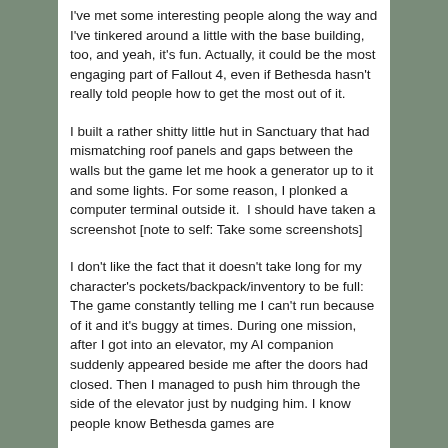I've met some interesting people along the way and I've tinkered around a little with the base building, too, and yeah, it's fun. Actually, it could be the most engaging part of Fallout 4, even if Bethesda hasn't really told people how to get the most out of it.
I built a rather shitty little hut in Sanctuary that had mismatching roof panels and gaps between the walls but the game let me hook a generator up to it and some lights. For some reason, I plonked a computer terminal outside it. I should have taken a screenshot [note to self: Take some screenshots]
I don't like the fact that it doesn't take long for my character's pockets/backpack/inventory to be full: The game constantly telling me I can't run because of it and it's buggy at times. During one mission, after I got into an elevator, my AI companion suddenly appeared beside me after the doors had closed. Then I managed to push him through the side of the elevator just by nudging him. I know people know Bethesda games are